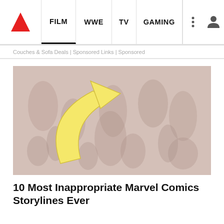FILM | WWE | TV | GAMING
Couches & Sofa Deals | Sponsored Links | Sponsored
[Figure (illustration): A faded/washed-out painting of many figures, with a large yellow arrow overlaid pointing to a specific area of the painting.]
10 Most Inappropriate Marvel Comics Storylines Ever